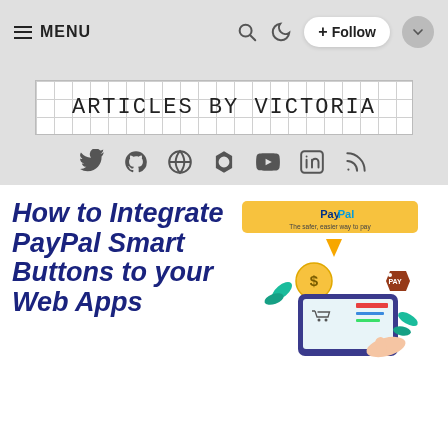MENU | search | Follow
[Figure (logo): Articles by Victoria blog logo — handwritten uppercase text on white grid background]
[Figure (illustration): Row of social media icons: Twitter, GitHub, Globe, Hashnode, YouTube, LinkedIn, RSS]
How to Integrate PayPal Smart Buttons to your Web Apps
[Figure (illustration): PayPal integration illustration showing PayPal logo, arrow, coin, shopping cart on tablet, price tag, and decorative leaves]